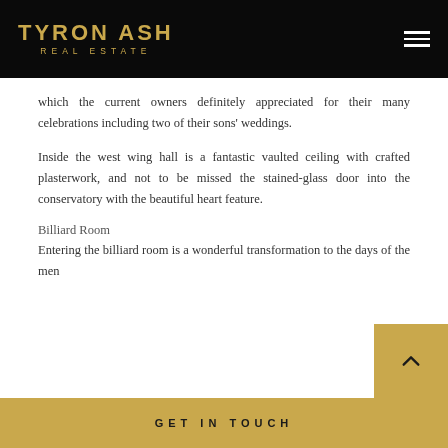TYRON ASH REAL ESTATE
which the current owners definitely appreciated for their many celebrations including two of their sons' weddings.
Inside the west wing hall is a fantastic vaulted ceiling with crafted plasterwork, and not to be missed the stained-glass door into the conservatory with the beautiful heart feature.
Billiard Room
Entering the billiard room is a wonderful transformation to the days of the men
GET IN TOUCH